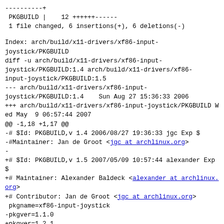----------+
 PKGBUILD |    12 ++++++------
 1 file changed, 6 insertions(+), 6 deletions(-)
Index: arch/build/x11-drivers/xf86-input-joystick/PKGBUILD
diff -u arch/build/x11-drivers/xf86-input-joystick/PKGBUILD:1.4 arch/build/x11-drivers/xf86-input-joystick/PKGBUILD:1.5
--- arch/build/x11-drivers/xf86-input-joystick/PKGBUILD:1.4    Sun Aug 27 15:36:33 2006
+++ arch/build/x11-drivers/xf86-input-joystick/PKGBUILD Wed May  9 06:57:44 2007
@@ -1,18 +1,17 @@
-# $Id: PKGBUILD,v 1.4 2006/08/27 19:36:33 jgc Exp $
-#Maintainer: Jan de Groot <jgc at archlinux.org>
-
+# $Id: PKGBUILD,v 1.5 2007/05/09 10:57:44 alexander Exp $
+# Maintainer: Alexander Baldeck <alexander at archlinux.org>
+# Contributor: Jan de Groot <jgc at archlinux.org>
 pkgname=xf86-input-joystick
-pkgver=1.1.0
+pkgver=1.2.1
 pkgrel=1
 pkgdesc="X.Org Joystick input driver"
 arch=(i686 x86_64)